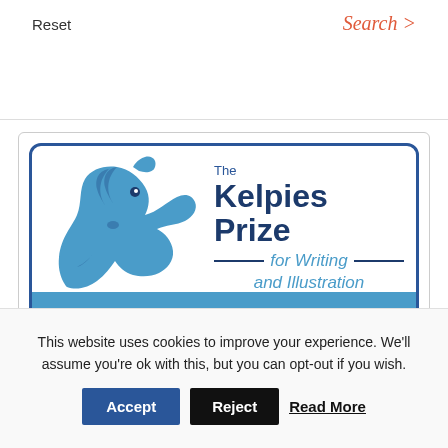Reset
Search >
[Figure (logo): The Kelpies Prize for Writing and Illustration — SHORTLIST ANNOUNCED! logo with a blue horse graphic on the left and text on a white and blue background with rounded border.]
This website uses cookies to improve your experience. We'll assume you're ok with this, but you can opt-out if you wish.
Accept
Reject
Read More